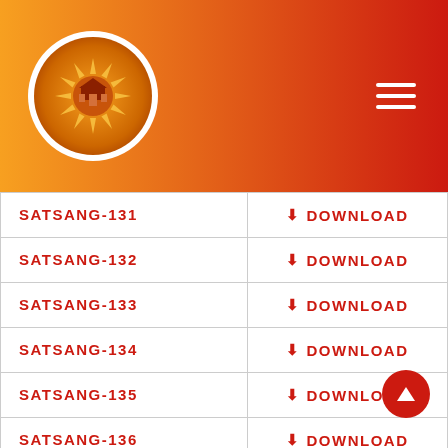[Figure (logo): Circular logo with orange/red sunburst design on a white circular background, placed on a gradient orange-to-red header bar with a hamburger menu icon on the right]
| Name | Action |
| --- | --- |
| SATSANG-131 | ⬇ DOWNLOAD |
| SATSANG-132 | ⬇ DOWNLOAD |
| SATSANG-133 | ⬇ DOWNLOAD |
| SATSANG-134 | ⬇ DOWNLOAD |
| SATSANG-135 | ⬇ DOWNLOAD |
| SATSANG-136 | ⬇ DOWNLOAD |
| SATSANG-137 | ⬇ DOWNLOAD |
| SATSANG-138 | ⬇ DOWNLOAD |
| SATSANG-139 | ⬇ DOWNLOAD |
| SATSANG-140 | ⬇ DOWNLOAD |